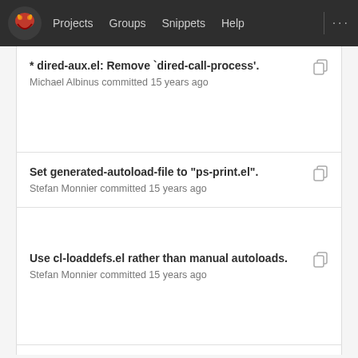Projects  Groups  Snippets  Help
* dired-aux.el: Remove `dired-call-process'.
Michael Albinus committed 15 years ago
Set generated-autoload-file to "ps-print.el".
Stefan Monnier committed 15 years ago
Use cl-loaddefs.el rather than manual autoloads.
Stefan Monnier committed 15 years ago